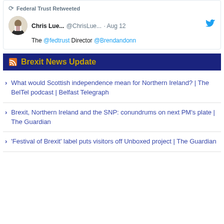[Figure (screenshot): Twitter retweet card showing Federal Trust Retweeted, Chris Lue... @ChrisLue... · Aug 12, with tweet text: The @fedtrust Director @Brendandonn]
Brexit News Update
What would Scottish independence mean for Northern Ireland? | The BelTel podcast | Belfast Telegraph
Brexit, Northern Ireland and the SNP: conundrums on next PM's plate | The Guardian
'Festival of Brexit' label puts visitors off Unboxed project | The Guardian